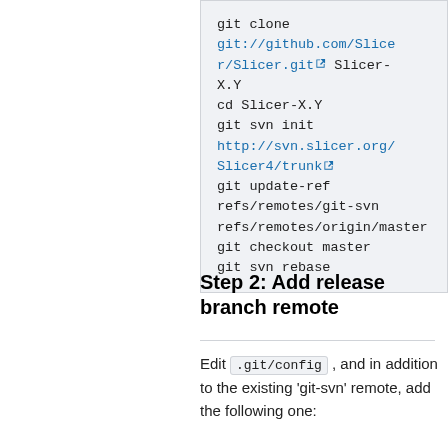git clone git://github.com/Slicer/Slicer.git Slicer-X.Y
cd Slicer-X.Y
git svn init http://svn.slicer.org/Slicer4/trunk
git update-ref refs/remotes/git-svn refs/remotes/origin/master
git checkout master
git svn rebase
Step 2: Add release branch remote
Edit .git/config , and in addition to the existing 'git-svn' remote, add the following one: